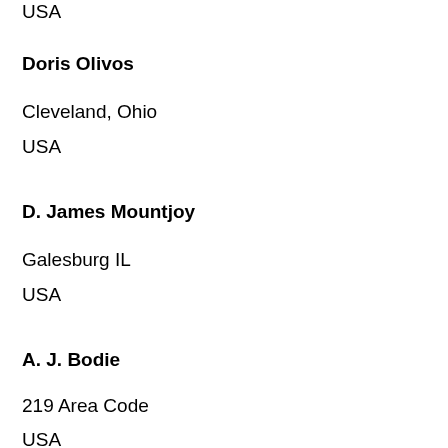USA
Doris Olivos
Cleveland, Ohio
USA
D. James Mountjoy
Galesburg IL
USA
A. J. Bodie
219 Area Code
USA